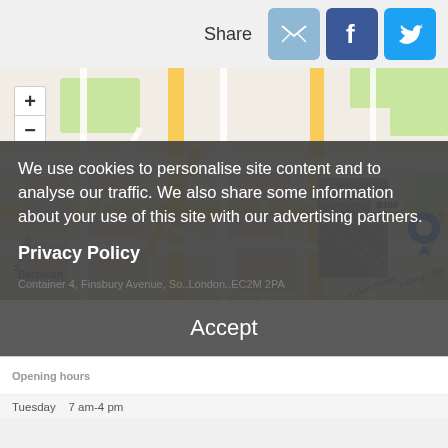Share
[Figure (map): Interactive OpenStreetMap showing location near Moorgate/Barbican area in London, with a blue map pin marker near Eldon Street/Finsbury Circus. Shows streets including Fore Street, London Wall, Moorgate, Eldon Street, Finsbury Circus, Artillery Lane, Brushfield Street. Map controls (+ and -) visible top-left. Attribution: Leaflet | Map data © OpenStreetMap contributors]
We use cookies to personalise site content and to analyse our traffic. We also share some information about your use of this site with our advertising partners.
Privacy Policy
Accept
Tuesday  7 am-4 pm